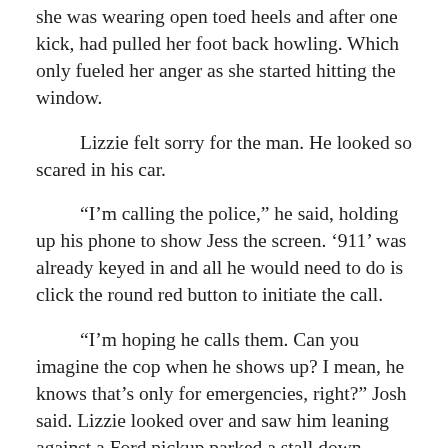she was wearing open toed heels and after one kick, had pulled her foot back howling. Which only fueled her anger as she started hitting the window.
Lizzie felt sorry for the man. He looked so scared in his car.
“I’m calling the police,” he said, holding up his phone to show Jess the screen. ‘911’ was already keyed in and all he would need to do is click the round red button to initiate the call.
“I’m hoping he calls them. Can you imagine the cop when he shows up? I mean, he knows that’s only for emergencies, right?” Josh said. Lizzie looked over and saw him leaning against a Ford pickup parked a stall down.